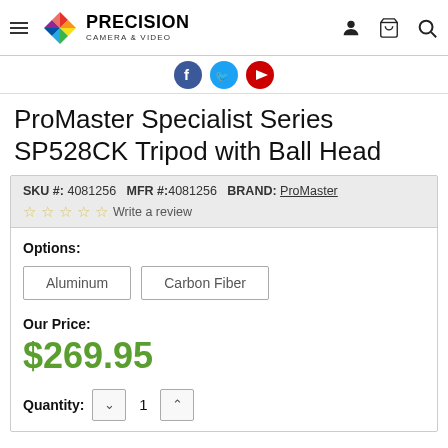[Figure (logo): Precision Camera & Video logo with colorful pinwheel icon]
[Figure (other): Social media icons row: Facebook, Twitter, YouTube]
ProMaster Specialist Series SP528CK Tripod with Ball Head
SKU #: 4081256  MFR #:4081256  BRAND: ProMaster
☆☆☆☆☆ Write a review
Options:
Aluminum
Carbon Fiber
Our Price:
$269.95
Quantity: 1